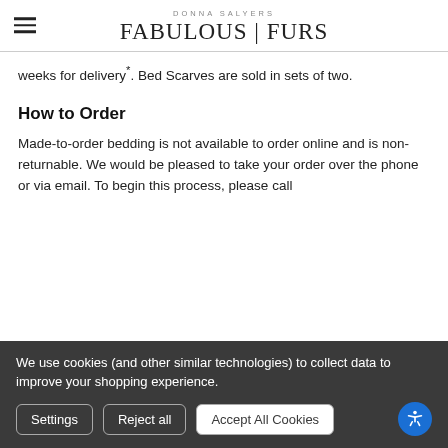DONNA SALYERS FABULOUS FURS
weeks for delivery*. Bed Scarves are sold in sets of two.
How to Order
Made-to-order bedding is not available to order online and is non-returnable. We would be pleased to take your order over the phone or via email. To begin this process, please call
We use cookies (and other similar technologies) to collect data to improve your shopping experience.